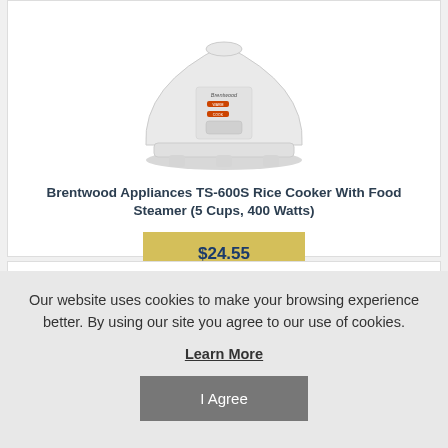[Figure (photo): Photo of a white Brentwood rice cooker with food steamer, showing the control panel with WARM and COOK buttons]
Brentwood Appliances TS-600S Rice Cooker With Food Steamer (5 Cups, 400 Watts)
$24.55
Our website uses cookies to make your browsing experience better. By using our site you agree to our use of cookies.
Learn More
I Agree